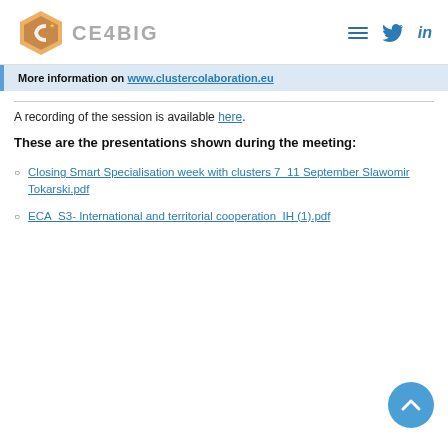[Figure (logo): CE4BIG logo with hexagon C shape and star, followed by text CE4BIG in grey, with hamburger menu, Twitter bird icon, and LinkedIn 'in' icon on the right]
More information on www.clustercolaboration.eu
A recording of the session is available here.
These are the presentations shown during the meeting:
Closing Smart Specialisation week with clusters 7_11 September Slawomir Tokarski.pdf
ECA_S3- International and territorial cooperation_IH (1).pdf